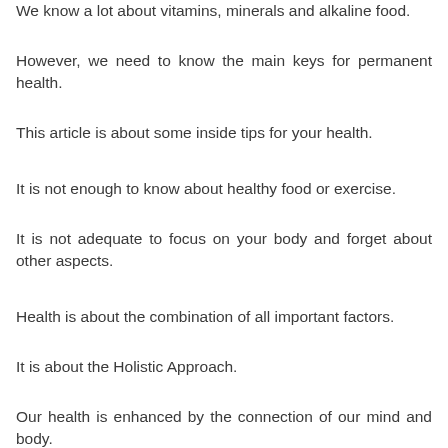We know a lot about vitamins, minerals and alkaline food.
However, we need to know the main keys for permanent health.
This article is about some inside tips for your health.
It is not enough to know about healthy food or exercise.
It is not adequate to focus on your body and forget about other aspects.
Health is about the combination of all important factors.
It is about the Holistic Approach.
Our health is enhanced by the connection of our mind and body.